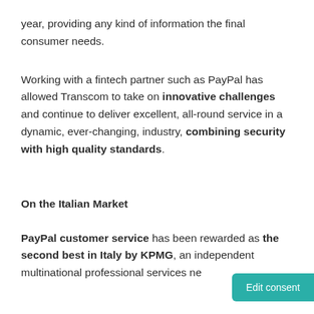year, providing any kind of information the final consumer needs.
Working with a fintech partner such as PayPal has allowed Transcom to take on innovative challenges and continue to deliver excellent, all-round service in a dynamic, ever-changing, industry, combining security with high quality standards.
On the Italian Market
PayPal customer service has been rewarded as the second best in Italy by KPMG, an independent multinational professional services ne